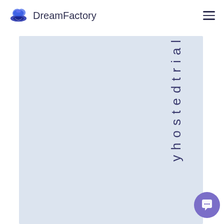DreamFactory
[Figure (screenshot): DreamFactory website screenshot showing a navigation bar with the DreamFactory logo on the left and a hamburger menu on the right. Below is a large light blue-gray panel with vertical text reading 'y h o s t e d t r i a l' along the right side. A purple chat widget button appears in the bottom right corner.]